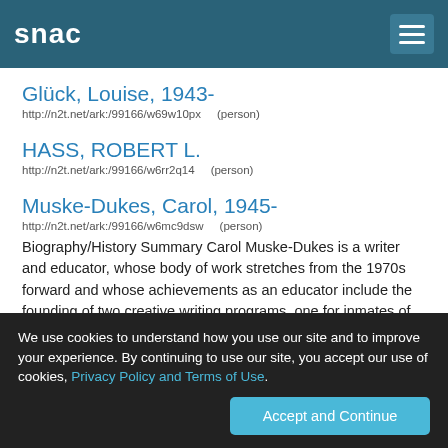snac
Glück, Louise, 1943-
http://n2t.net/ark:/99166/w69w10px    (person)
HASS, ROBERT L.
http://n2t.net/ark:/99166/w6rr2q14    (person)
Muske-Dukes, Carol, 1945-
http://n2t.net/ark:/99166/w6mc9dsw    (person)
Biography/History Summary Carol Muske-Dukes is a writer and educator, whose body of work stretches from the 1970s forward and whose achievements as an educator include the founding of two creative writing programs, one for inmates of New York area prisons and the other a PhD program in Literature and Creative
We use cookies to understand how you use our site and to improve your experience. By continuing to use our site, you accept our use of cookies, Privacy Policy and Terms of Use.